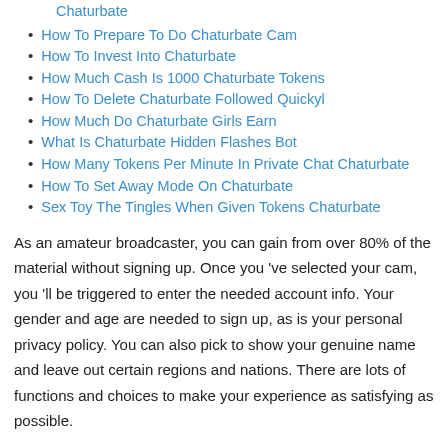Chaturbate
How To Prepare To Do Chaturbate Cam
How To Invest Into Chaturbate
How Much Cash Is 1000 Chaturbate Tokens
How To Delete Chaturbate Followed Quickyl
How Much Do Chaturbate Girls Earn
What Is Chaturbate Hidden Flashes Bot
How Many Tokens Per Minute In Private Chat Chaturbate
How To Set Away Mode On Chaturbate
Sex Toy The Tingles When Given Tokens Chaturbate
As an amateur broadcaster, you can gain from over 80% of the material without signing up. Once you 've selected your cam, you 'll be triggered to enter the needed account info. Your gender and age are needed to sign up, as is your personal privacy policy. You can also pick to show your genuine name and leave out certain regions and nations. There are lots of functions and choices to make your experience as satisfying as possible.